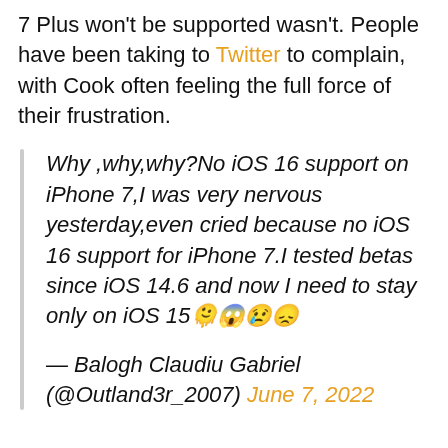7 Plus won't be supported wasn't. People have been taking to Twitter to complain, with Cook often feeling the full force of their frustration.
Why ,why,why?No iOS 16 support on iPhone 7,I was very nervous yesterday,even cried because no iOS 16 support for iPhone 7.I tested betas since iOS 14.6 and now I need to stay only on iOS 15🫠😱😢😞

— Balogh Claudiu Gabriel (@Outland3r_2007) June 7, 2022